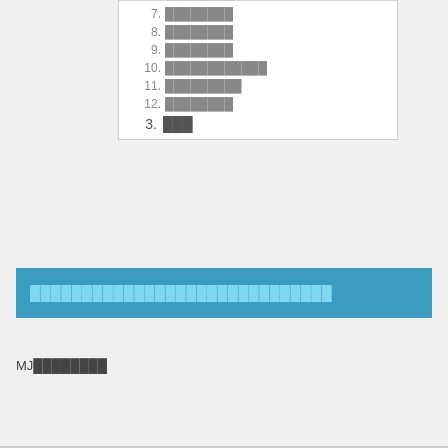7. ████████
8. ████████
9. ████████
10. ████████████
11. █████████
12. ████████
3. ███
█████████████████████████████
MJ████████